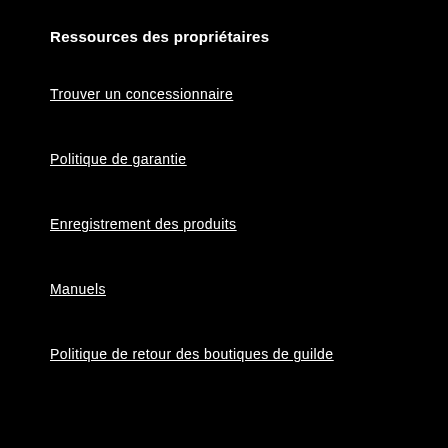Ressources des propriétaires
Trouver un concessionnaire
Politique de garantie
Enregistrement des produits
Manuels
Politique de retour des boutiques de guilde